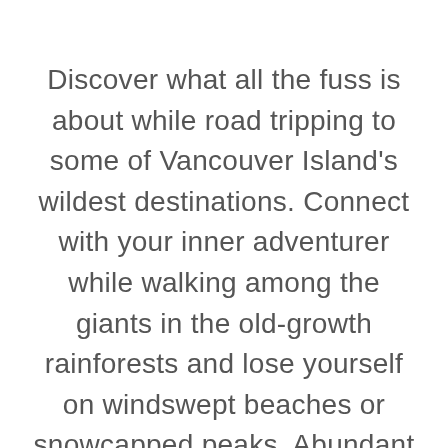Discover what all the fuss is about while road tripping to some of Vancouver Island's wildest destinations. Connect with your inner adventurer while walking among the giants in the old-growth rainforests and lose yourself on windswept beaches or snowcapped peaks. Abundant with natural wonders, bustling cities and quirky roadside towns, Vancouver Island offers a diverse range of road trips guaranteed to entice it an offer a last divine while